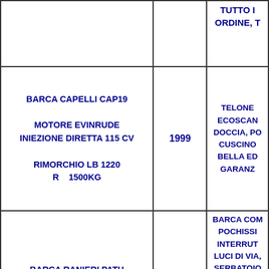|  |  | TUTTO IN ORDINE, T |
| BARCA CAPELLI CAP19
MOTORE EVINRUDE INIEZIONE DIRETTA 115 CV
RIMORCHIO LB 1220 R 1500KG | 1999 | TELONE ECOSCAN DOCCIA, PO CUSCINO BELLA ED GARANZ |
| BARCA RANIERI PATH FINDER METRI 5.60 |  | BARCA COM POCHISSI INTERRUT LUCI DI VIA, SERBATOIO DOCCIA |